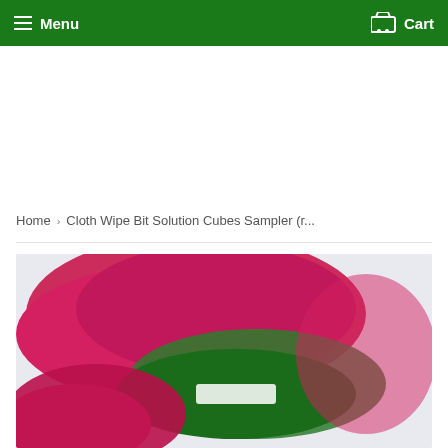Menu  Cart
Home › Cloth Wipe Bit Solution Cubes Sampler (r...
[Figure (photo): Product photo showing a cloth wipe or cleaning product with pink/magenta and green colors, partially visible at the bottom of the page]